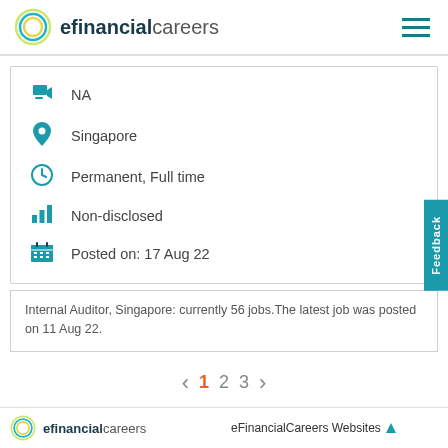efinancialcareers
NA
Singapore
Permanent, Full time
Non-disclosed
Posted on:  17 Aug 22
Internal Auditor, Singapore: currently 56 jobs.The latest job was posted on 11 Aug 22.
< 1 2 3 >
efinancialcareers   eFinancialCareers Websites